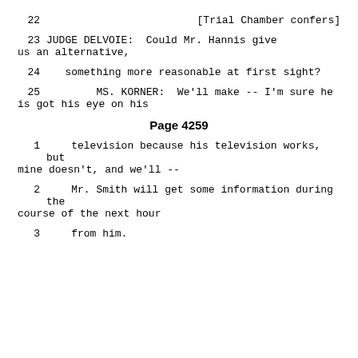22    [Trial Chamber confers]
23        JUDGE DELVOIE:  Could Mr. Hannis give us an alternative,
24      something more reasonable at first sight?
25             MS. KORNER:  We'll make -- I'm sure he is got his eye on his
Page 4259
1      television because his television works, but mine doesn't, and we'll --
2      Mr. Smith will get some information during the course of the next hour
3      from him.